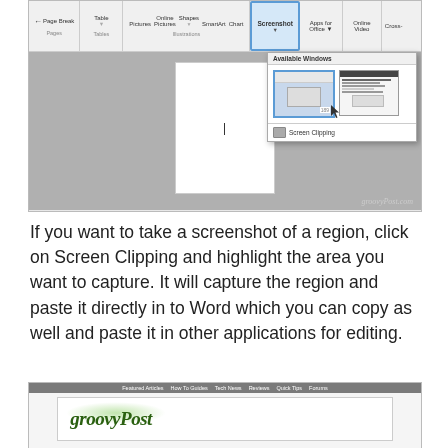[Figure (screenshot): Microsoft Word Insert ribbon with Screenshot dropdown open showing Available Windows thumbnails and Screen Clipping option, watermark groovyPost.com]
If you want to take a screenshot of a region, click on Screen Clipping and highlight the area you want to capture. It will capture the region and paste it directly in to Word which you can copy as well and paste it in other applications for editing.
[Figure (screenshot): Bottom screenshot showing groovyPost website with navigation bar (Featured Articles, How To Guides, Tech News, Reviews, Quick Tips, Forums) and groovyPost logo]